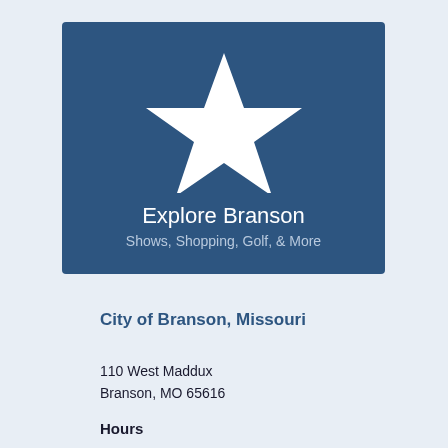[Figure (illustration): Dark blue card with a large white star icon in the center, with text 'Explore Branson' and 'Shows, Shopping, Golf, & More' below]
Explore Branson
Shows, Shopping, Golf, & More
City of Branson, Missouri
110 West Maddux
Branson, MO 65616
Hours